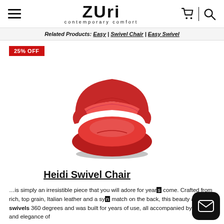Zuri contemporary comfort — navigation header with hamburger, cart, and search icons
Related Products: Easy | Swivel Chair | Easy Swivel
25% OFF
[Figure (photo): Red leather Heidi Swivel Chair, round pod-shaped seat with cushioned back, on a dark base, photographed on white background]
Heidi Swivel Chair
…is simply an irresistible piece that you will adore for years to come. Crafted from rich, top grain, Italian leather and a sy match on the back, this beauty also swivels 360 degrees and was built for years of use, all accompanied by the look and elegance of